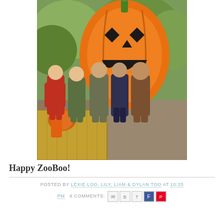[Figure (photo): Group of children in Halloween costumes posing in front of a large inflatable jack-o-lantern pumpkin decoration, standing on a brick path with hay bales and autumn foliage in background. Children wearing costumes including a red superhero suit, military/army fatigues, and a bear/animal costume.]
Happy ZooBoo!
POSTED BY LEXIE LOO, LILY, LIAM & DYLAN TOO AT 10:25 PM  6 COMMENTS: